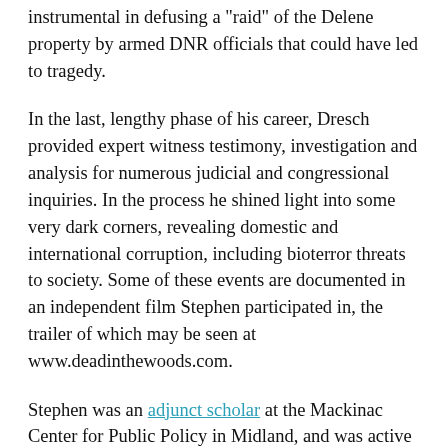instrumental in defusing a "raid" of the Delene property by armed DNR officials that could have led to tragedy.
In the last, lengthy phase of his career, Dresch provided expert witness testimony, investigation and analysis for numerous judicial and congressional inquiries. In the process he shined light into some very dark corners, revealing domestic and international corruption, including bioterror threats to society. Some of these events are documented in an independent film Stephen participated in, the trailer of which may be seen at www.deadinthewoods.com.
Stephen was an adjunct scholar at the Mackinac Center for Public Policy in Midland, and was active in wide-ranging organizations from the Great Lakes Property Rights Action League to the American Association for the Advancement of Science and the American Economic Association. The list of scholarly books and journal articles he authored is voluminous, and he also produced